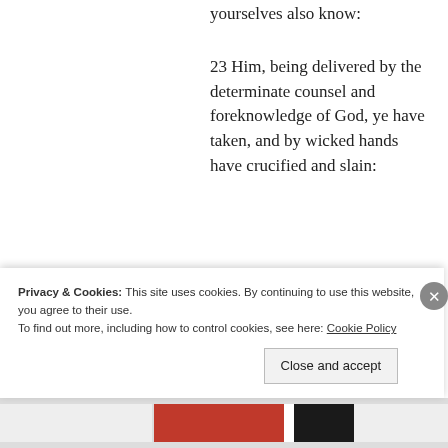yourselves also know:
23 Him, being delivered by the determinate counsel and foreknowledge of God, ye have taken, and by wicked hands have crucified and slain:
24 Whom God hath raised up, having loosed the pains of death: because it was not possible that he should be
Privacy & Cookies: This site uses cookies. By continuing to use this website, you agree to their use.
To find out more, including how to control cookies, see here: Cookie Policy
Close and accept